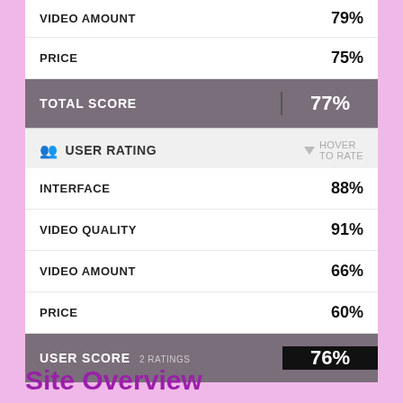| Category | Score |
| --- | --- |
| VIDEO AMOUNT | 79% |
| PRICE | 75% |
| TOTAL SCORE | 77% |
| USER RATING |  |
| INTERFACE | 88% |
| VIDEO QUALITY | 91% |
| VIDEO AMOUNT | 66% |
| PRICE | 60% |
| USER SCORE  2 RATINGS | 76% |
Site Overview